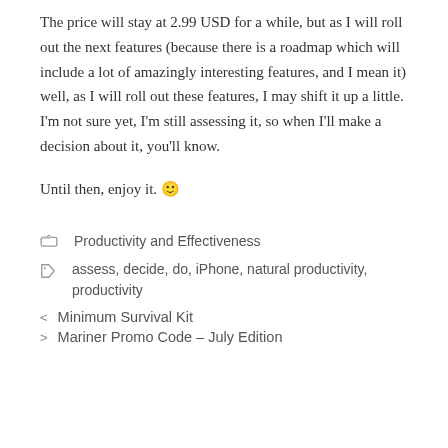The price will stay at 2.99 USD for a while, but as I will roll out the next features (because there is a roadmap which will include a lot of amazingly interesting features, and I mean it) well, as I will roll out these features, I may shift it up a little. I'm not sure yet, I'm still assessing it, so when I'll make a decision about it, you'll know.
Until then, enjoy it. 🙂
📁 Productivity and Effectiveness
🏷 assess, decide, do, iPhone, natural productivity, productivity
< Minimum Survival Kit
> Mariner Promo Code – July Edition